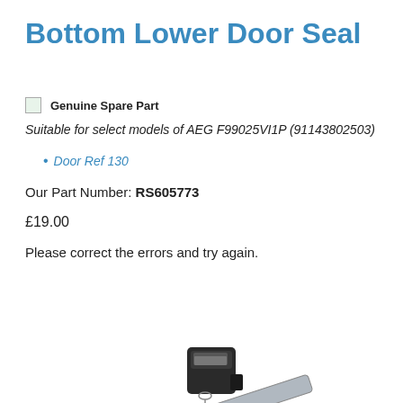Bottom Lower Door Seal
Genuine Spare Part Genuine Spare Part
Suitable for select models of AEG F99025VI1P (91143802503)
Door Ref 130
Our Part Number: RS605773
£19.00
Please correct the errors and try again.
Add To Basket
[Figure (photo): Product photo of a Bottom Lower Door Seal component — a grey elongated rod/bar with a black connector piece at the top]